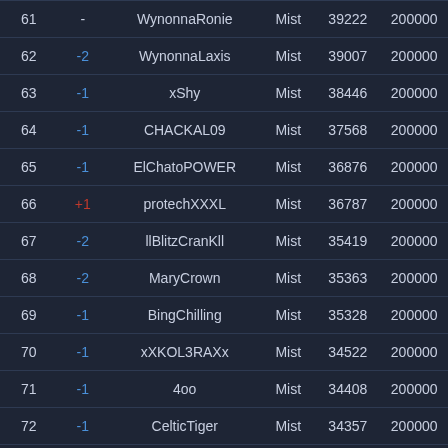| Rank | Change | Name | Class | Score | GP |
| --- | --- | --- | --- | --- | --- |
| 61 | - | WynonnaRonie | Mist | 39222 | 200000 |
| 62 | -2 | WynonnaLaxis | Mist | 39007 | 200000 |
| 63 | -1 | xShy | Mist | 38446 | 200000 |
| 64 | -1 | CHACKAL09 | Mist | 37568 | 200000 |
| 65 | -1 | ElChatoPOWER | Mist | 36876 | 200000 |
| 66 | +1 | protechXXXL | Mist | 36787 | 200000 |
| 67 | -2 | llBlitzCranKll | Mist | 35419 | 200000 |
| 68 | -2 | MaryCrown | Mist | 35363 | 200000 |
| 69 | -1 | BingChilling | Mist | 35328 | 200000 |
| 70 | -1 | xXKOL3RAXx | Mist | 34522 | 200000 |
| 71 | -1 | 4oo | Mist | 34408 | 200000 |
| 72 | -1 | CelticTiger | Mist | 34357 | 200000 |